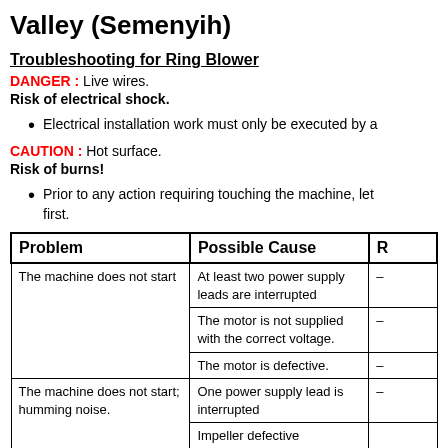Valley (Semenyih)
Troubleshooting for Ring Blower
DANGER : Live wires.
Risk of electrical shock.
Electrical installation work must only be executed by a
CAUTION : Hot surface.
Risk of burns!
Prior to any action requiring touching the machine, let it cool first.
| Problem | Possible Cause | R |
| --- | --- | --- |
| The machine does not start | At least two power supply leads are interrupted | – |
|  | The motor is not supplied with the correct voltage. | – |
|  | The motor is defective. | – |
| The machine does not start; humming noise. | One power supply lead is interrupted | – |
|  | Impeller defective |  |